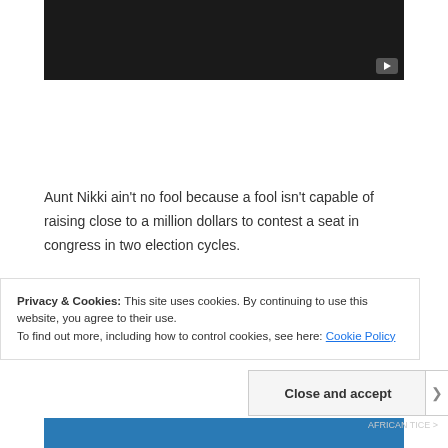[Figure (screenshot): Dark video player thumbnail with a YouTube-style play button in the bottom-right corner]
Aunt Nikki ain't no fool because a fool isn't capable of raising close to a million dollars to contest a seat in congress in two election cycles.
CORPORATE MAMMY AND GOP TROJAN HORSE
Privacy & Cookies: This site uses cookies. By continuing to use this website, you agree to their use.
To find out more, including how to control cookies, see here: Cookie Policy
Close and accept